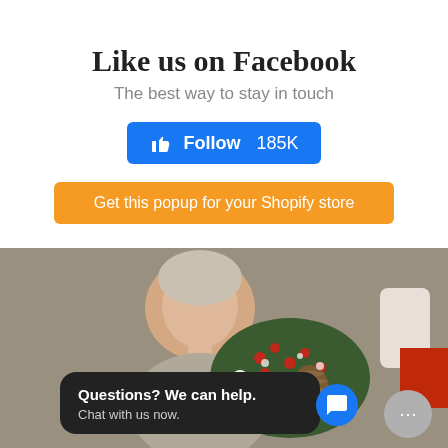✕
Like us on Facebook
The best way to stay in touch
👍 Follow 185K
Get this popup for your Shopify store
[Figure (photo): A woman smiling while arranging a Christmas floral decoration with red berries, pine cones, and white ornaments.]
Questions? We can help.
Chat with us now.